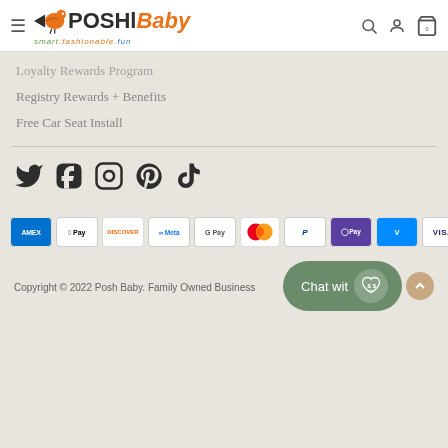[Figure (logo): Posh Baby logo with bird icon, text 'POSH Baby' and tagline 'smart.fashionable.fun', plus hamburger menu icon, search icon, user icon, and cart icon with 0 items]
Loyalty Rewards Program
Registry Rewards + Benefits
Free Car Seat Install
[Figure (infographic): Social media icons: Twitter (bird), Facebook (f), Instagram (camera), Pinterest (P), TikTok (music note)]
[Figure (infographic): Payment method icons: Amex, Apple Pay, Discover, Meta, Google Pay, Mastercard, PayPal, OPay, Venmo, Visa]
Copyright © 2022 Posh Baby. Family Owned Business